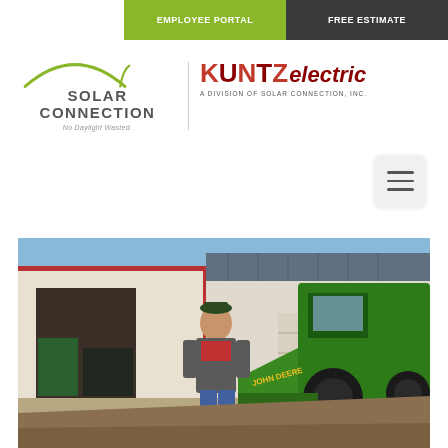EMPLOYEE PORTAL | FREE ESTIMATE
[Figure (logo): Solar Connection logo with arc and tagline 'No Daylight Wasted.']
[Figure (logo): KUNTZ electric logo - A Division of Solar Connection, Inc.]
[Figure (photo): A man in a grey jacket and red shirt leaning against a John Deere tractor bucket in front of a farm building with solar panels on the roof.]